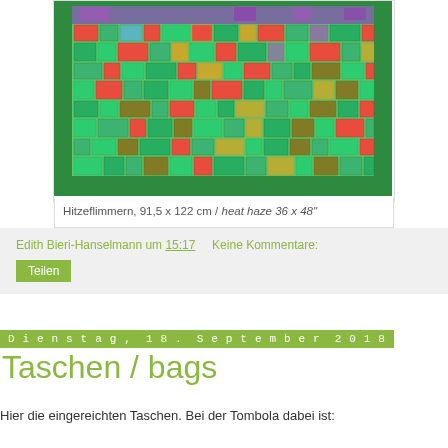[Figure (photo): Photograph of a colorful textile/quilt artwork titled 'Hitzeflimmern' featuring abstract mosaic patterns in green, red, orange, and purple tones]
Hitzeflimmern, 91,5 x 122 cm / heat haze 36 x 48"
Edith Bieri-Hanselmann um 15:17    Keine Kommentare:
Teilen
Dienstag, 18. September 2018
Taschen / bags
Hier die eingereichten Taschen. Bei der Tombola dabei ist: